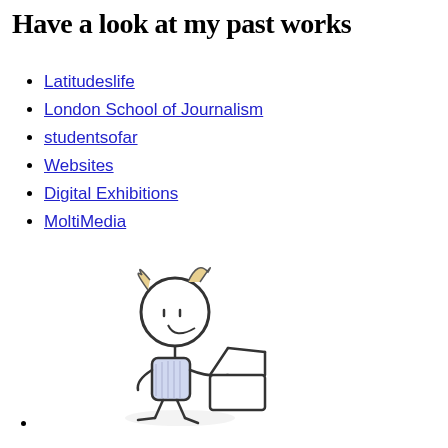Have a look at my past works
Latitudeslife
London School of Journalism
studentsofar
Websites
Digital Exhibitions
MoltiMedia
[Figure (illustration): A stick figure illustration of a person with a bow in their hair, holding a laptop computer, drawn in a simple doodle/sketch style with light pencil shading on the body.]